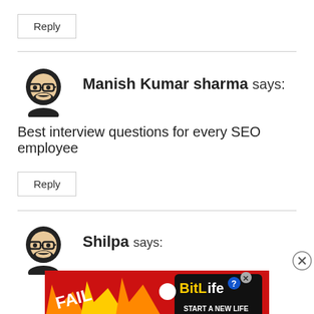Reply
Manish Kumar sharma says:
Best interview questions for every SEO employee
Reply
Shilpa says:
[Figure (illustration): Advertisement banner with 'FAIL', 'BitLife', 'START A NEW LIFE' text and cartoon imagery]